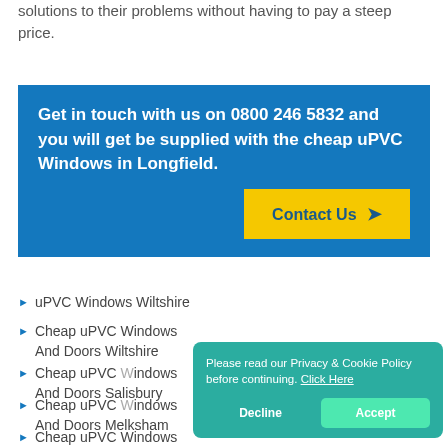solutions to their problems without having to pay a steep price.
Get in touch with us on 0800 246 5832 and you will get be supplied with the cheap uPVC Windows in Longfield.
Contact Us ▶
uPVC Windows Wiltshire
Cheap uPVC Windows And Doors Wiltshire
Cheap uPVC Windows And Doors Salisbury
Cheap uPVC Windows And Doors Melksham
Cheap uPVC Windows And Doors
Please read our Privacy & Cookie Policy before continuing. Click Here
Decline  Accept